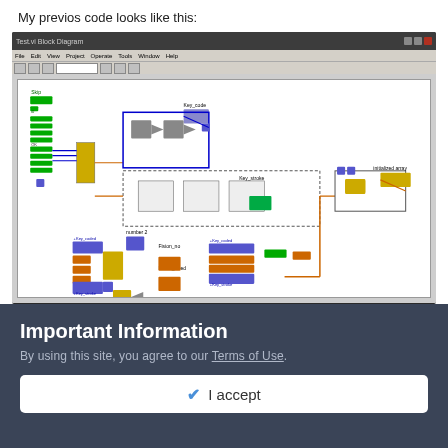My previos code looks like this:
[Figure (screenshot): Screenshot of a LabVIEW block diagram showing a complex dataflow program with green, blue, and orange wired components including logic gates, arrays, clusters, sub-VIs, key code and key stroke handlers, and various other LabVIEW structures connected by wires.]
Important Information
By using this site, you agree to our Terms of Use.
✔  I accept